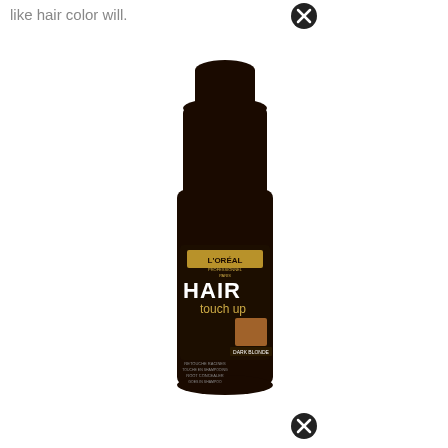like hair color will.
[Figure (photo): L'Oreal Professionnel Hair Touch Up spray can in dark blonde shade, black cylindrical aerosol bottle with gold and brown label details]
[Figure (other): Close icon (X in circle) at top right area]
[Figure (other): Close icon (X in circle) at bottom center area]